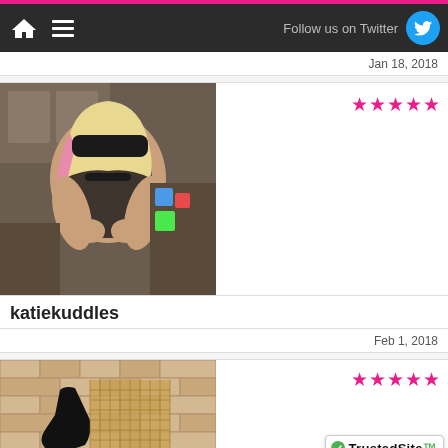Follow us on Twitter
Jan 18, 2018
[Figure (photo): Person with blonde and pink hair wearing a black lace bodysuit and a black blindfold, in a bedroom setting]
katiekuddles
Feb 1, 2018
[Figure (photo): Lower body shot showing fishnet stockings and heels on a brick background]
[Figure (logo): TrustedSite Certified Secure badge]